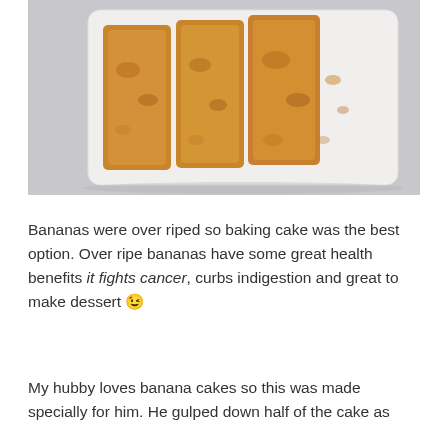[Figure (photo): Slices of banana cake on a white rectangular plate, photographed from above on a light grey surface.]
Bananas were over riped so baking cake was the best option. Over ripe bananas have some great health benefits it fights cancer, curbs indigestion and great to make dessert 😉
My hubby loves banana cakes so this was made specially for him. He gulped down half of the cake as